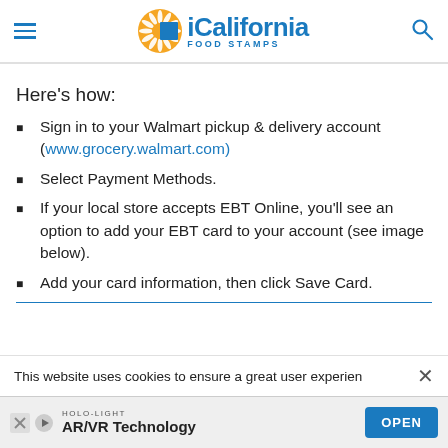iCalifornia FOOD STAMPS
Here’s how:
Sign in to your Walmart pickup & delivery account (www.grocery.walmart.com)
Select Payment Methods.
If your local store accepts EBT Online, you’ll see an option to add your EBT card to your account (see image below).
Add your card information, then click Save Card.
This website uses cookies to ensure a great user experien
[Figure (screenshot): Advertisement banner: HOLO-LIGHT AR/VR Technology with OPEN button]